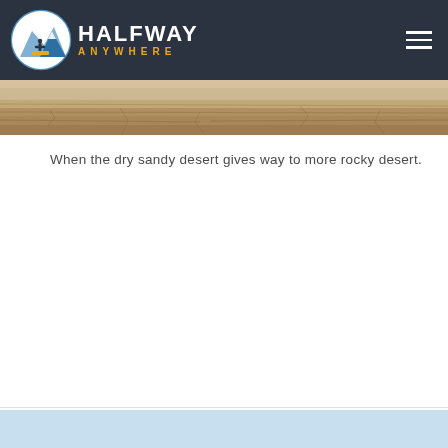Halfway Anywhere
[Figure (photo): Rocky desert landscape photo strip used as hero banner image]
When the dry sandy desert gives way to more rocky desert.